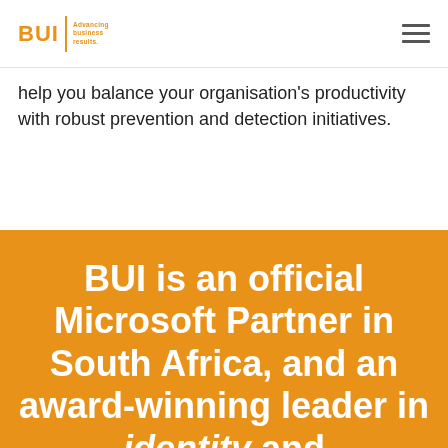BUI | Advancing business results
help you balance your organisation's productivity with robust prevention and detection initiatives.
BUI is an official Microsoft Partner in South Africa, and an award-winning leader in identity and